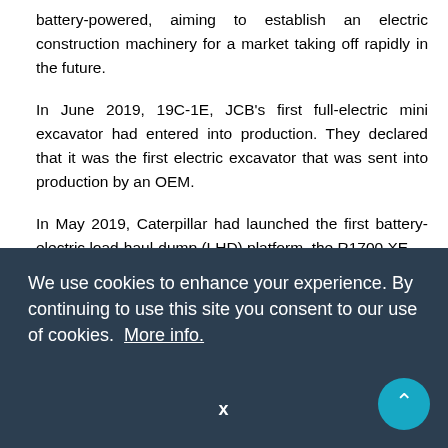battery-powered, aiming to establish an electric construction machinery for a market taking off rapidly in the future.
In June 2019, 19C-1E, JCB's first full-electric mini excavator had entered into production. They declared that it was the first electric excavator that was sent into production by an OEM.
In May 2019, Caterpillar had launched the first battery-electric load-haul-dump (LHD) platform, the R1700 XE loader, powered and coupled with MEC500 fast-charging system, capable of fast-charging and testing
[partially obscured] ...h to
profiles approached within the industry includes; CEO, CFO,
We use cookies to enhance your experience. By continuing to use this site you consent to our use of cookies. More info.